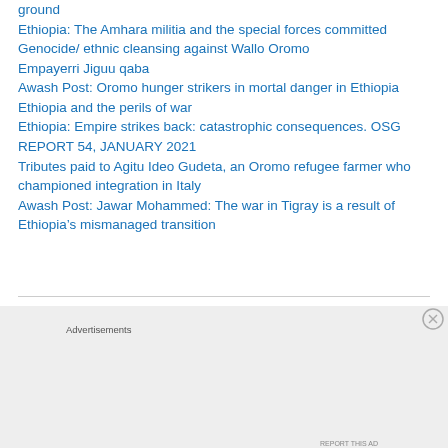ground
Ethiopia: The Amhara militia and the special forces committed Genocide/ ethnic cleansing against Wallo Oromo
Empayerri Jiguu qaba
Awash Post: Oromo hunger strikers in mortal danger in Ethiopia
Ethiopia and the perils of war
Ethiopia: Empire strikes back: catastrophic consequences. OSG REPORT 54, JANUARY 2021
Tributes paid to Agitu Ideo Gudeta, an Oromo refugee farmer who championed integration in Italy
Awash Post: Jawar Mohammed: The war in Tigray is a result of Ethiopia’s mismanaged transition
[Figure (infographic): DuckDuckGo advertisement banner. Orange background with text 'Search, browse, and email with more privacy. All in One Free App' and a phone graphic with DuckDuckGo logo.]